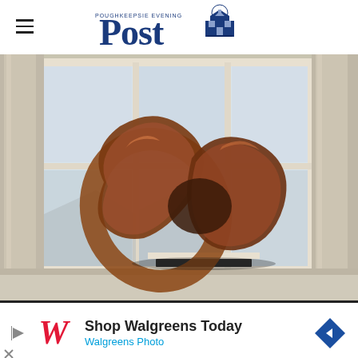Poughkeepsie Evening Post
[Figure (photo): A bronze/copper twisted ribbon sculpture sitting on a white base on a windowsill, with large multi-pane windows and white columns visible in the background showing rooftops outside.]
[Figure (infographic): Walgreens advertisement banner: 'Shop Walgreens Today / Walgreens Photo' with Walgreens W logo and a blue diamond directional arrow icon.]